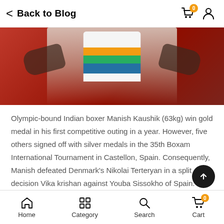Back to Blog
[Figure (photo): Indian boxer Manish Kaushik wearing Indian national jersey with colorful stripes (white, orange, green, blue) and black gloves, celebrating against a red background.]
Olympic-bound Indian boxer Manish Kaushik (63kg) win gold medal in his first competitive outing in a year. However, five others signed off with silver medals in the 35th Boxam International Tournament in Castellon, Spain. Consequently, Manish defeated Denmark's Nikolai Terteryan in a split decision Vika krishan against Youba Sissokho of Spain.
Home  Category  Search  Cart